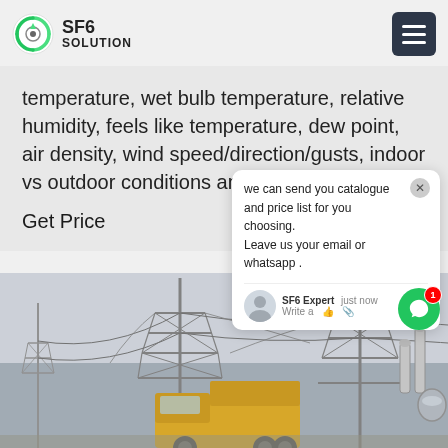SF6 SOLUTION
temperature, wet bulb temperature, relative humidity, feels like temperature, dew point, air density, wind speed/direction/gusts, indoor vs outdoor conditions and barometric p…
Get Price
we can send you catalogue and price list for you choosing.
Leave us your email or whatsapp .
SF6 Expert   just now
Write a
[Figure (photo): Power transmission line towers / electrical substation with a yellow truck in the foreground, overcast sky.]